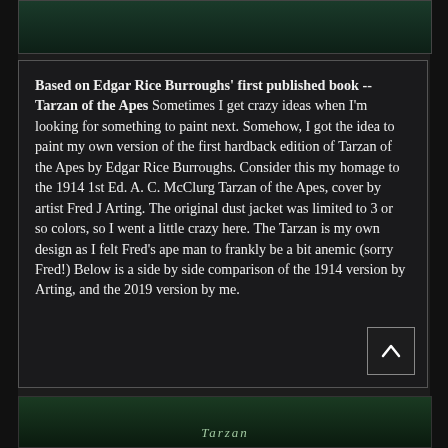[Figure (illustration): Top strip showing a dark green book cover or painting image, partially visible]
Based on Edgar Rice Burroughs' first published book -- Tarzan of the Apes Sometimes I get crazy ideas when I'm looking for something to paint next. Somehow, I got the idea to paint my own version of the first hardback edition of Tarzan of the Apes by Edgar Rice Burroughs. Consider this my homage to the 1914 1st Ed. A. C. McClurg Tarzan of the Apes, cover by artist Fred J Arting. The original dust jacket was limited to 3 or so colors, so I went a little crazy here. The Tarzan is my own design as I felt Fred's ape man to frankly be a bit anemic (sorry Fred!) Below is a side by side comparison of the 1914 version by Arting, and the 2019 version by me.
[Figure (illustration): Bottom strip showing a partial view of a Tarzan book cover with text 'Tarzan' visible]